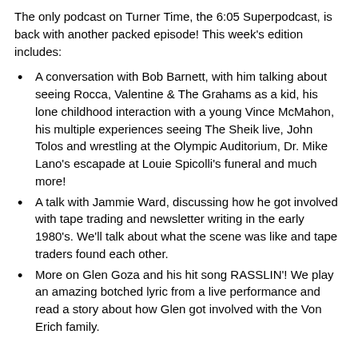The only podcast on Turner Time, the 6:05 Superpodcast, is back with another packed episode! This week's edition includes:
A conversation with Bob Barnett, with him talking about seeing Rocca, Valentine & The Grahams as a kid, his lone childhood interaction with a young Vince McMahon, his multiple experiences seeing The Sheik live, John Tolos and wrestling at the Olympic Auditorium, Dr. Mike Lano's escapade at Louie Spicolli's funeral and much more!
A talk with Jammie Ward, discussing how he got involved with tape trading and newsletter writing in the early 1980's. We'll talk about what the scene was like and tape traders found each other.
More on Glen Goza and his hit song RASSLIN'! We play an amazing botched lyric from a live performance and read a story about how Glen got involved with the Von Erich family.